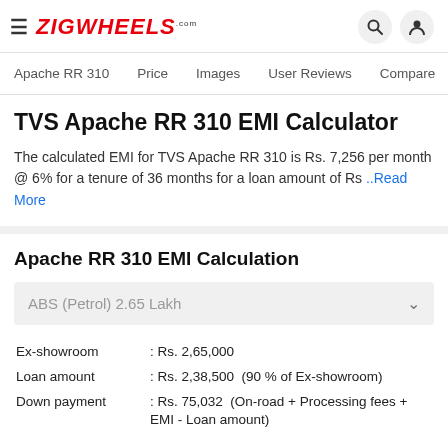≡ ZIGWHEELS.com
Apache RR 310   Price   Images   User Reviews   Compare
TVS Apache RR 310 EMI Calculator
The calculated EMI for TVS Apache RR 310 is Rs. 7,256 per month @ 6% for a tenure of 36 months for a loan amount of Rs ...Read More
Apache RR 310 EMI Calculation
ABS (Petrol) 2.65 Lakh
| Field | Value |
| --- | --- |
| Ex-showroom | : Rs. 2,65,000 |
| Loan amount | : Rs. 2,38,500  (90 % of Ex-showroom) |
| Down payment | : Rs. 75,032  (On-road + Processing fees + EMI - Loan amount) |